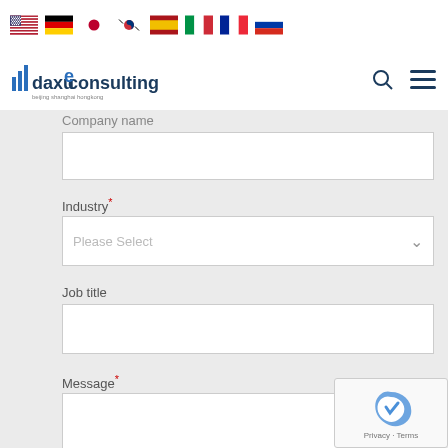[Figure (screenshot): Row of 8 country flag icons: USA, Germany, Japan, South Korea, Spain, Italy, France, Russia]
[Figure (logo): Daxue Consulting logo with bar chart icon, search icon, and hamburger menu]
Company name
[Figure (other): Company name text input field (empty)]
Industry*
[Figure (other): Industry dropdown select field with placeholder 'Please Select']
Job title
[Figure (other): Job title text input field (empty)]
Message*
[Figure (other): Message textarea field (empty)]
[Figure (other): Blue submit button and reCAPTCHA widget with Privacy and Terms text]